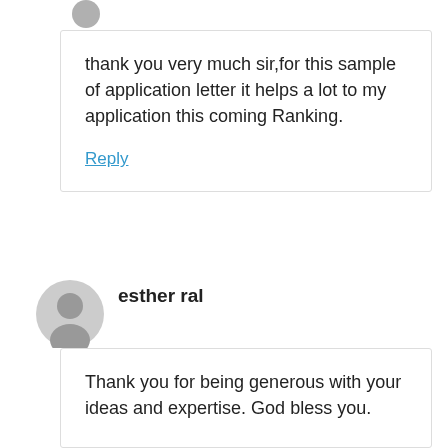[Figure (illustration): Grey user avatar icon (partial, top cropped) for first commenter]
thank you very much sir,for this sample of application letter it helps a lot to my application this coming Ranking.
Reply
[Figure (illustration): Grey circular user avatar icon for commenter esther ral]
esther ral
Thank you for being generous with your ideas and expertise. God bless you.